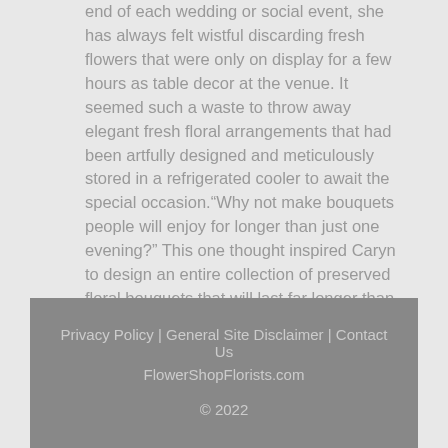end of each wedding or social event, she has always felt wistful discarding fresh flowers that were only on display for a few hours as table decor at the venue. It seemed such a waste to throw away elegant fresh floral arrangements that had been artfully designed and meticulously stored in a refrigerated cooler to await the special occasion.“Why not make bouquets people will enjoy for longer than just one evening?” This one thought inspired Caryn to design an entire collection of preserved floral bouquets that will last far longer than any fresh flower arrangement. She launched her company, Timeless Flower Design on February 14, 2020 and has been selling her preserved flower bouquets online ever since.Knowing that preserved flowers are a growing current trend, Caryn researched the preserved & dried floral design industry. She discovered that preserv...
https://www.benzinga.com/pressreleases/20/04/r15724293/timeless-flower-design-proudly-presents-their-signature-collection-elegantly-preserved-floral-arra
Privacy Policy | General Site Disclaimer | Contact Us
FlowerShopFlorists.com
© 2022